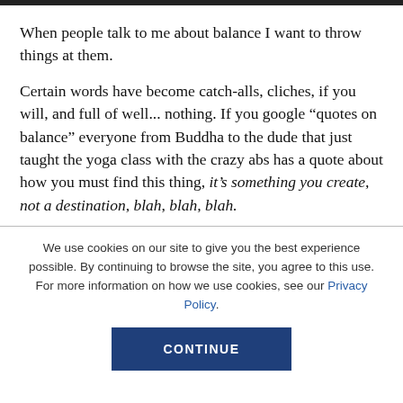When people talk to me about balance I want to throw things at them.
Certain words have become catch-alls, cliches, if you will, and full of well... nothing. If you google “quotes on balance” everyone from Buddha to the dude that just taught the yoga class with the crazy abs has a quote about how you must find this thing, it’s something you create, not a destination, blah, blah, blah.
We use cookies on our site to give you the best experience possible. By continuing to browse the site, you agree to this use. For more information on how we use cookies, see our Privacy Policy.
CONTINUE